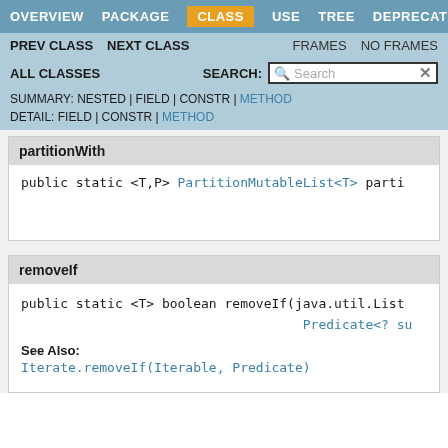OVERVIEW  PACKAGE  CLASS  USE  TREE  DEPRECATED
PREV CLASS  NEXT CLASS  FRAMES  NO FRAMES
ALL CLASSES  SEARCH:
SUMMARY: NESTED | FIELD | CONSTR | METHOD  DETAIL: FIELD | CONSTR | METHOD
partitionWith
public static <T,P> PartitionMutableList<T> parti
removeIf
public static <T> boolean removeIf(java.util.List
                                    Predicate<? su
See Also:
Iterate.removeIf(Iterable, Predicate)